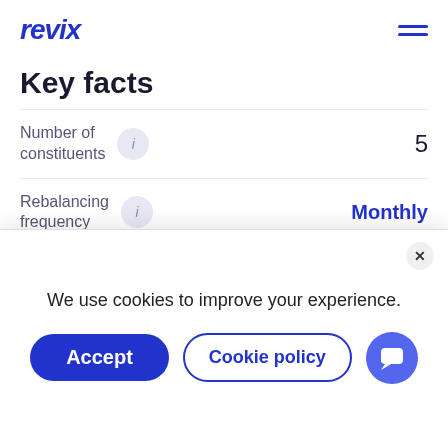revix
Key facts
| Label | Info | Value |
| --- | --- | --- |
| Number of constituents | i | 5 |
| Rebalancing frequency | i | Monthly |
| Target weight | i | Equal |
| Last | i | 01 Aug 2023 |
We use cookies to improve your experience.
Accept
Cookie policy